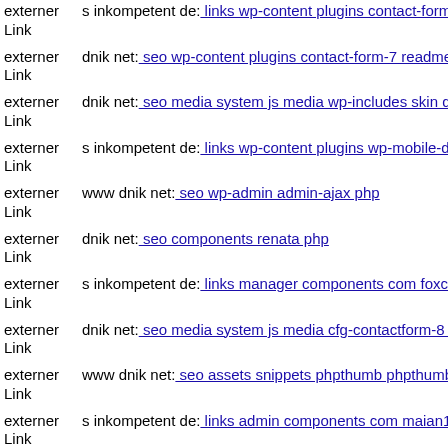externer Link  s inkompetent de: links wp-content plugins contact-form-7
externer Link  dnik net: seo wp-content plugins contact-form-7 readme txt
externer Link  dnik net: seo media system js media wp-includes skin dnik
externer Link  s inkompetent de: links wp-content plugins wp-mobile-dete
externer Link  www dnik net: seo wp-admin admin-ajax php
externer Link  dnik net: seo components renata php
externer Link  s inkompetent de: links manager components com foxconta
externer Link  dnik net: seo media system js media cfg-contactform-8 inc
externer Link  www dnik net: seo assets snippets phpthumb phpthumb libs
externer Link  s inkompetent de: links admin components com maian15 ch
externer Link  www dnik net: seo media wp-content plugins cherry-plugin
externer Link  dnik net: seo media system js marvel php